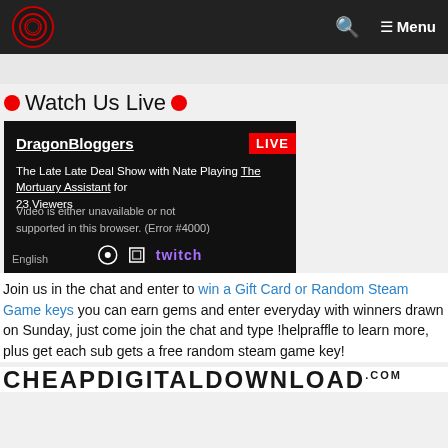DragonBloggers — Menu navigation bar
Watch Us Live
[Figure (screenshot): Embedded Twitch stream showing DragonBloggers playing The Mortuary Assistant with LIVE badge, video unavailable error message, and Twitch controls]
Join us in the chat and enter to win a Gift Card or Random Steam Game keys you can earn gems and enter everyday with winners drawn on Sunday, just come join the chat and type !helpraffle to learn more, plus get each sub gets a free random steam game key!
CHEAPDIGITALDOWNLOAD.com